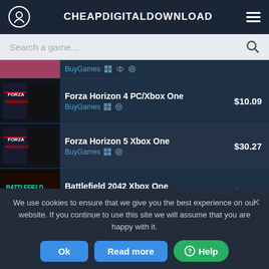CHEAPDIGITALDOWNLOAD
Search a game...
Forza Horizon 4 PC/Xbox One — BuyGames — $10.09
Forza Horizon 5 Xbox One — BuyGames — $30.27
Battlefield 2042 Xbox One — Kinguin — $30.15
Call of Duty Vanguard Xbox One — BuyGames — $23.54
GTA The Trilogy The Definitive Edi... — $21.99
We use cookies to ensure that we give you the best experience on our website. If you continue to use this site we will assume that you are happy with it.